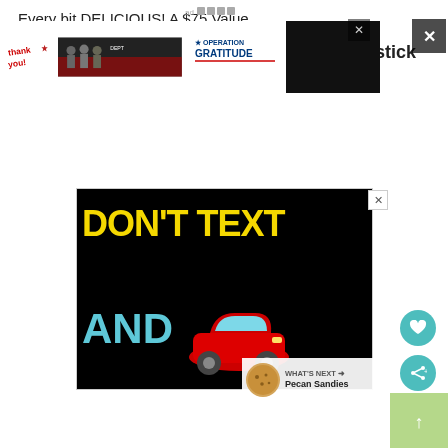Every bit DELICIOUS! A $75 Value.
Prize 2: Williams Sonoma Cleartouch Nonstick 6-Piece Bakeware Set from Dixie Crystals
[Figure (advertisement): Black background ad with yellow bold text 'DON'T TEXT' and cyan text 'AND' with a red cartoon car emoji, and a 'What's Next' overlay showing Pecan Sandies]
[Figure (advertisement): Bottom banner ad: 'Thank you!' with firefighters image and Operation Gratitude logo]